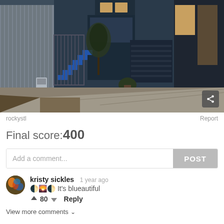[Figure (photo): Street-level photograph of San Francisco residential buildings on a hill. Dark blue/grey Victorian-style house with external stairs, garage door, iron gate, and street-level sidewalk. Muted cool tones, urban setting.]
rockystl
Report
Final score:400
Add a comment...
POST
kristy sickles  1 year ago
🌓🌄🌓 It's blueautiful
80
Reply
View more comments ∨